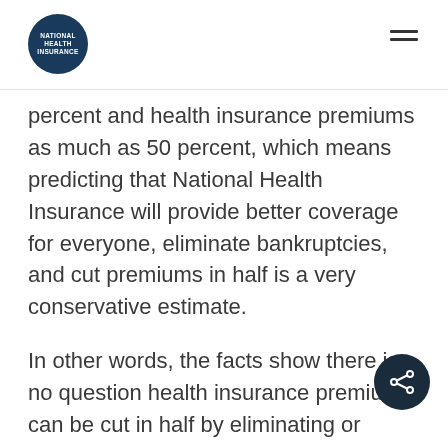National Health Insurance (logo) + hamburger menu
percent and health insurance premiums as much as 50 percent, which means predicting that National Health Insurance will provide better coverage for everyone, eliminate bankruptcies, and cut premiums in half is a very conservative estimate.
In other words, the facts show there is no question health insurance premiums can be cut in half by eliminating or reducing waste, inefficiency, fraud, greed, misinformation, and a lot of